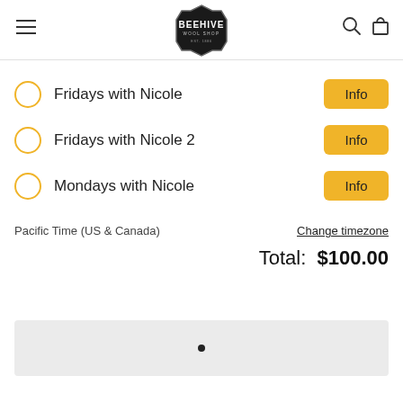[Figure (logo): Beehive Wool Shop logo badge]
Fridays with Nicole
Fridays with Nicole 2
Mondays with Nicole
Pacific Time (US & Canada)    Change timezone
Total:  $100.00